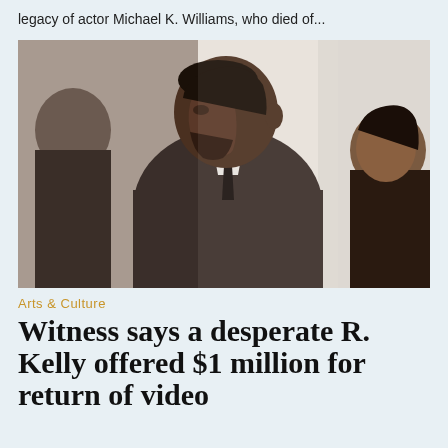legacy of actor Michael K. Williams, who died of...
[Figure (photo): A man in a dark brown suit in profile view, looking downward, in what appears to be a courtroom setting. Other people are visible in the background.]
Arts & Culture
Witness says a desperate R. Kelly offered $1 million for return of video